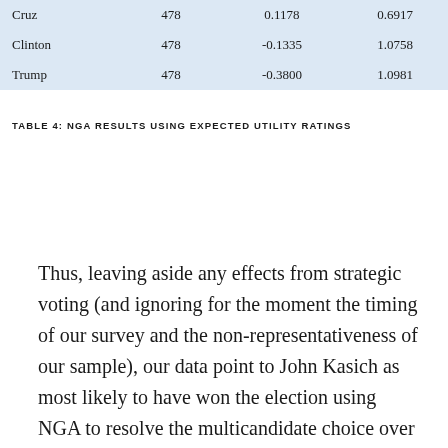| Cruz | 478 | 0.1178 | 0.6917 |
| Clinton | 478 | -0.1335 | 1.0758 |
| Trump | 478 | -0.3800 | 1.0981 |
TABLE 4: NGA RESULTS USING EXPECTED UTILITY RATINGS
Thus, leaving aside any effects from strategic voting (and ignoring for the moment the timing of our survey and the non-representativeness of our sample), our data point to John Kasich as most likely to have won the election using NGA to resolve the multicandidate choice over all of these five candidates. While his mediocre performance under our current voting